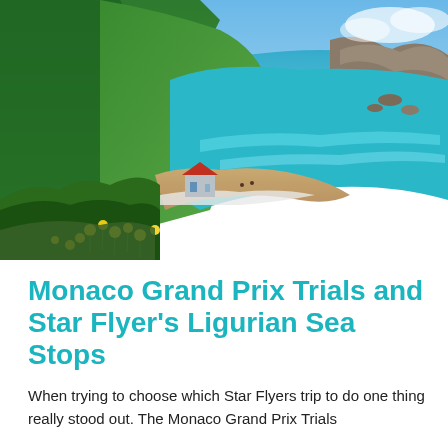[Figure (photo): Coastal cliffside scene with green hills, yellow wildflowers in the foreground, a small building with a red roof on the shore, turquoise Mediterranean sea, rocky coastline, and white-capped waves on a sandy beach under a blue sky.]
Monaco Grand Prix Trials and Star Flyer's Ligurian Sea Stops
When trying to choose which Star Flyers trip to do one thing really stood out. The Monaco Grand Prix Trials...